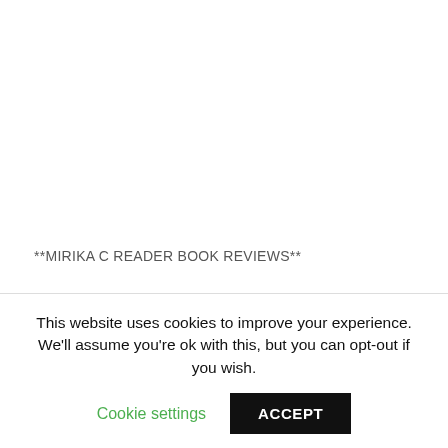**MIRIKA C READER BOOK REVIEWS**
[Figure (photo): A person wearing a grey hoodie with a logo on the back, and bold text on the right reading 'IT'S ALWAYS TIME.']
This website uses cookies to improve your experience. We'll assume you're ok with this, but you can opt-out if you wish.
Cookie settings   ACCEPT